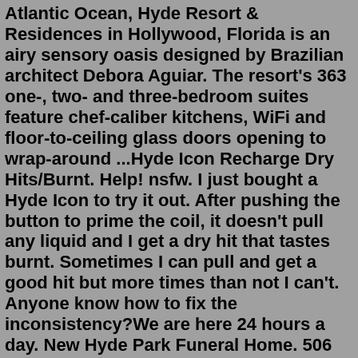Atlantic Ocean, Hyde Resort & Residences in Hollywood, Florida is an airy sensory oasis designed by Brazilian architect Debora Aguiar. The resort's 363 one-, two- and three-bedroom suites feature chef-caliber kitchens, WiFi and floor-to-ceiling glass doors opening to wrap-around ...Hyde Icon Recharge Dry Hits/Burnt. Help! nsfw. I just bought a Hyde Icon to try it out. After pushing the button to prime the coil, it doesn't pull any liquid and I get a dry hit that tastes burnt. Sometimes I can pull and get a good hit but more times than not I can't. Anyone know how to fix the inconsistency?We are here 24 hours a day. New Hyde Park Funeral Home. 506 Lakeville Road. New Hyde Park, NY 11040 Tel: (516) 352-8989 Fax: (516) 352-0143Enjoy Hyde's first daylife oceanfront location at SLS South Beach featuring artful mixology and Katsuya cuisine inspired by the local community. Already an icon in Los Angeles and Australia, Hyde's first Miami location keeps its celebrated style and energy going all day in the heart of South Beach at SLS South Beach. Take A 3-D